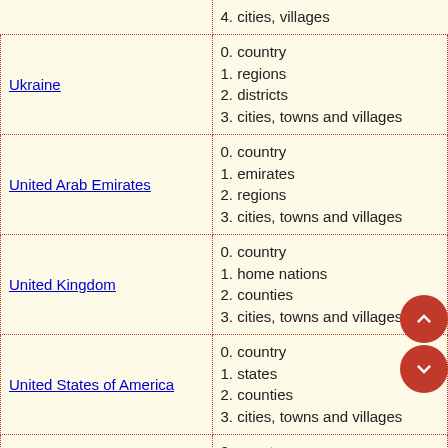| Country | Administrative levels |
| --- | --- |
| (partial top row) | 4. cities, villages |
| Ukraine | 0. country
1. regions
2. districts
3. cities, towns and villages |
| United Arab Emirates | 0. country
1. emirates
2. regions
3. cities, towns and villages |
| United Kingdom | 0. country
1. home nations
2. counties
3. cities, towns and villages |
| United States of America | 0. country
1. states
2. counties
3. cities, towns and villages |
| Uruguay | 0. country
1. departments
2. cities, towns and villages |
| Uzbekistan | 0. country
1. regions
2. districts
3. cities, towns and villages |
| (partial bottom row) | 0. country |